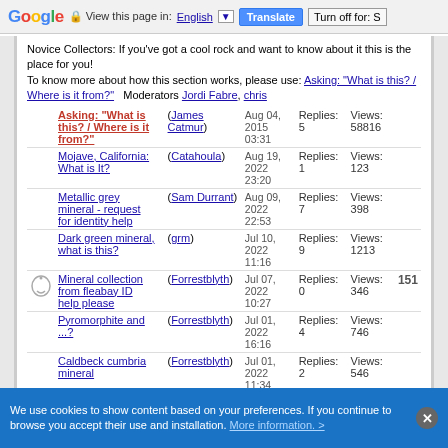Google | View this page in: English | Translate | Turn off for: S
Novice Collectors: If you've got a cool rock and want to know about it this is the place for you!
To know more about how this section works, please use: Asking: "What is this? / Where is it from?"  Moderators Jordi Fabre, chris
| Topic | Author | Date | Replies | Views | Extra |
| --- | --- | --- | --- | --- | --- |
| Asking: "What is this? / Where is it from?" | (James Catmur) | Aug 04, 2015 03:31 | Replies: 5 | Views: 58816 |  |
| Mojave, California: What is It? | (Catahoula) | Aug 19, 2022 23:20 | Replies: 1 | Views: 123 |  |
| Metallic grey mineral - request for identity help | (Sam Durrant) | Aug 09, 2022 22:53 | Replies: 7 | Views: 398 |  |
| Dark green mineral, what is this? | (grm) | Jul 10, 2022 11:16 | Replies: 9 | Views: 1213 |  |
| Mineral collection from fleabay ID help please | (Forrestblyth) | Jul 07, 2022 10:27 | Replies: 0 | Views: 346 | 151 |
| Pyromorphite and ...? | (Forrestblyth) | Jul 01, 2022 16:16 | Replies: 4 | Views: 746 |  |
| Caldbeck cumbria mineral | (Forrestblyth) | Jul 01, 2022 11:34 | Replies: 2 | Views: 546 |  |
We use cookies to show content based on your preferences. If you continue to browse you accept their use and installation. More information. >